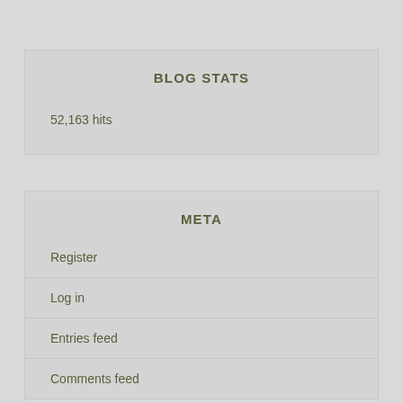BLOG STATS
52,163 hits
META
Register
Log in
Entries feed
Comments feed